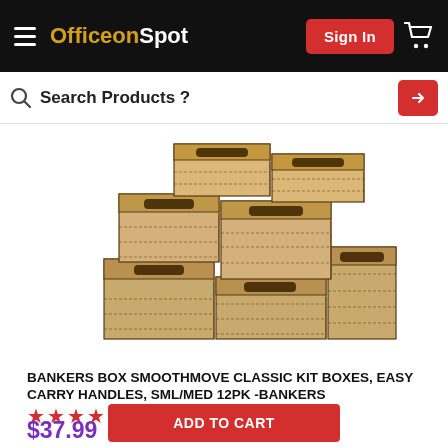OfficeonSpot — Sign In — Cart
Search Products ?
[Figure (photo): Stack of Bankers Box SmoothMove classic cardboard moving boxes with black handles, arranged in a pyramid-like pile on a white background.]
BANKERS BOX SMOOTHMOVE CLASSIC KIT BOXES, EASY CARRY HANDLES, SML/MED 12PK -BANKERS
★★★★★
$37.99
ADD TO CART